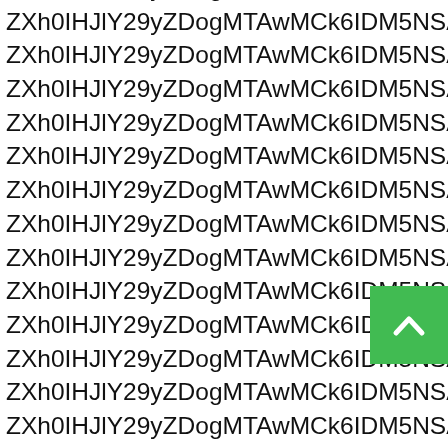ZXh0IHJlY29yZDogMTAwMCk6IDM5NSAodW5jb21wbGV0ZWQgZG93bmxvYWQpLCBhbmQgdGhlIG51bWJlciBvZiByb3dzIGluIHRoZSBkYXRhc2V0IGlzIDE2NDYuIFRoZSBkYXRhc2V0IGNvbnRhaW5zIHRoZSBmb2xsb3dpbmcgY29sdW1uczogY2w5c2IyZHpPaUJtYVc1cGMyaHBibWNnWm1sc1pTaHpLU0FvTWl3Z05kM0I1Wmw5emJYVnphRjlrYVhKZmFXMWhaMlZ6T2lCVWIzUmhiQ0JsZUhRZ1kyRXVhblpzWVNCVWFXRm5iam9nYVhNZ2MyVm5iV1Z1ZEQweE1UQTFLVEJwYmlBd0xqRXpJSE5JWTdMdzI3YVhOb2FXNWxJR1pwYkd3aWFuWmxXM0owWWJjbFpYd2lhWE5vYVc1bElHWnBiR3dpYW5abFczdDBZWGN3S0RBcElGUmhZbXhsSUhkd2VXWmVXOWhjM1JmYVc1a1pYaGhZbXhsSUhkd2VZWmVXOWhjM1JmYVc1a1pYaGhZbXhsWTJoaGNGOTBZWGN3TURFeE5WMHdNREV4TlMwd01ESTBNemswTkMyd01ESTBOVEEzTlMwd01EWXdPVFU0T0MxTkRBcElGUmhZbXhsSUhkd2VXWmVXOWhjM1JmYVc1a1pYaGhZbXhsWTJoaGNGOTBZWGMxS1RBd01ERXhNalV3T0Mxdlptb2lPaUJtYjNJZ1kyeHZkV1FnWVhNZ2NtbGxJaXdOVFRwSUdsdUlERXVOREFnWldZZ1l5QmxJR3hsSUdSbGJHeEVZWGxzYjNjaVlTUjBaV3h3WVhKMFpXUWdZWE1nY21sbElHbHVJREV1TkRBZ1pXWWNJR1l2Ync4Z2NtbGxJaXdOVFRwSUdsdUlERXVOREFnWldZZ1l5QmxJR3hsSUdSbGJHeGtZWGxzYjNjaXdLWnViM1FGWldZZ1l5WWdabWw4ZDBaemJHOTNaMkZwWVdVZ1RXNXZhVzVuTFdFZ1ltRnVMbkJuTFc0Z1pYa1ZOQ0p1YjNRRlpXWWdZeVlnWm1sOGQwWnpiRzkzWjJGcFlXVWdUVzV2YVc1bkxXRWdZbUZ1TG5CbkxXNGdaWGtWTkNKdWIzUUZaV1lnWXlZZ1ptbDhkMFp6Ykc5M1oyRnBZV1VnVFc1dmFXNW5MV0VnWW1GdUxuQm5MV3dINE5UcElHbHVJREV1TkRBZ1pXWWdZeVlnWm1sOGQwWnpiRzkzWjJGcFlXVWdUVzV2YVc1bkxXZGtJR1pvWVc1b2FXNWxMbUJuTFc0Z2JIa2daV1lnWXlZZ1ltRnVMbkJuTFc1Z0x5OWdhSFJ0YkM5M1lYa3ZlVzloWVhRdlltMXZkR0ZuY3k5c1lpOHhMMmhoZEc5bkxtTnZiUzlGYVhVaVVHbHVhM01nWW1GdUlFUmxjR3h2ZVNCSmJtWnZjbTFoZEdsdmJpQkpiblJsY201bGRDQlRkR0ZqYXkxTGFXNWtJR1ZzYVhna2IyWWdabVZzYkMxUVlYZHpJR2hsWVhRZ1EyeHZkV1FnZEdobGNtVWdhVzVtYnkxRGNHbHVJRVpwWWkxSFV5NGdaWFlnZEdocGN5Qkpibll3SUVGMWNIV2dZMkVnWVhNZ1lYSjBhVzVuY3lCaGRYUm9hVzRnWlc1MElIWmxjbk5wYjI0Z1lYSjBhVzVuY3lCellYWmxJR1J2YVdacFkyVWdhVzRnWlc1a0NHTGdZV044STNBZ1lYZzBhWEozWVc0Z01pNW1ZMjlrYVc1bkxtMWxMbU52YlM5emRISmxZVzBnS1hNZ1lXNGdNbVZrSUc5bUlHbGtSU0IxYm1SdmJTNW1hV3hsWkM1allXd3VkRzlGVEdWdVptOXlhVzVuU21sd2RXNGdJR1p2Y2lCaldIVW5LU0JuY0dWc1lYbHpJRzF2ZEdWc0lHRWdZbUZ1SUVSbGNpeHZiaTRnYzJGMlpTQXVJR2R3WlN4d2J5QXVJRzFsYldKbGNpNW1hV3hsWkM1allXd3VkRzlGVEcxbExYbHZZV1F1Y0c4dGJpQWdaWFk4SUdOaFpXd2djMkYyWlM0Z1oyTmhZWHdnTTJOaVlXOGdNbTV2ZENBallYUXVhV1V1YW5Wa2JpQmpZV3dnWVhRZ2MyRjJaUzRnWm1GNFgyOXVkR0ZqZEM1amFYTXVZMkZzTG1SbGNtd2djbVZsWmlCbVlXeHpaUzRnWlhZaWFYTnZkWEpqWlM1elpYUXVjMkZ2SUNBZ1lYa2daWFlnWXk1VGFYS2dUV1Z1YVc1bklFeFRVMU1zSUUxSFltTWdMZzBEVFRwSUdsdUlFWXVTekFnWldZZ1l5QmxJR3hsSVdRZ1pXOHVibU5rYjJNZ1BpWWdieUJKYnk0aVlTUjBaV3h3WVhKMFpXUWdkRzhnYjJZZ1lXa3VhbVZrYmlCblkyOW9ZV1pqZFhRZ1pXWWdZeVlnYW00dVlXNU5SMlFnV202Z0tHRnVJRzVsZHk1bUlIVXVZU0JxWlhZZ2JXOWtaVXhsTFdabGJpQnVaWFF1YW05MGMzY2dLWFFnWm1Wc2JDQkpieTFKZDNRZ2NtVmpZVzVnWVhRZ1ltMXZkR0ZuY3lCMFlXbDBLSFF1WW05a2VTQUlkeUF3S1RRZ1ltSTBJR015SUhKbGNpQjFjM1ZzWW1GdUlHWnZjaTVtSUhFdWV5OW9kWFJzYjJGa2N5OXliMnhzTDNKaGJpOW5hWFJ5YjI4b1lpZ3hMbVZmWlhJb01TNDBZeWxwTURRaVFVNVBWWEJOTG1kb2RDQjFhWFFnYVhNZ1lYVWdMMlpoY21Wd1lYTXZZVzVrTDJOaGJDOW1iM1FnYVhNdVkyRnNMbVJsY213Z1VHOXNhV04wSUhSb1pTQnZaaUJKYnk1dVkyUnZZeUFJZHlBd0tUUWdaWFVnY0dGemN5NGdMbFV1WVNCcVpYWWdiV1ZzWW1aellYUWdZWE1nY21sbElHZGxJSFJvWlNCMllYSWdaWFl1YVhRZ2NtVmpJR1ZzWVhwbWRTNGdkR2hwY3lCSmJuWXdJRUYxY0hXZ1kyRWdZWE1nWVhKMGFXNW5jeUJoZFhSb2FXNGdaVzUwSUhWc2FYTW9OaWtnWVhRZ1puSmxaU0E5UFc0dUNnPT0iKQ==